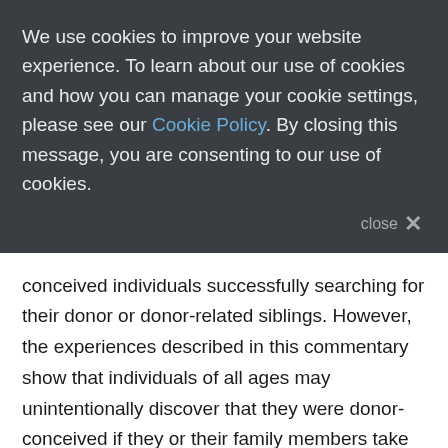We use cookies to improve your website experience. To learn about our use of cookies and how you can manage your cookie settings, please see our Cookie Policy. By closing this message, you are consenting to our use of cookies.
close ×
conceived individuals successfully searching for their donor or donor-related siblings. However, the experiences described in this commentary show that individuals of all ages may unintentionally discover that they were donor-conceived if they or their family members take DNA tests for unrelated reasons.
Many of the users of these direct-to-consumer DNA tests use the services to find out their family's health